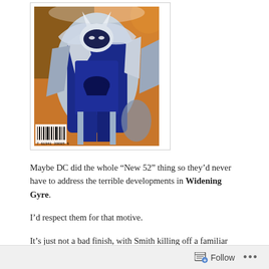[Figure (illustration): Comic book cover image showing a blue and silver costumed figure (Batman) with dynamic action artwork in blue, silver, and orange tones. A barcode is visible at the bottom left of the cover.]
Maybe DC did the whole “New 52” thing so they’d never have to address the terrible developments in Widening Gyre.
I’d respect them for that motive.
It’s just not a bad finish, with Smith killing off a familiar DC character, but a bad issue overall. Batman breaks into the Fortress of Solitude for a date with Silver. He’s got on his goofy white snow
Follow ...